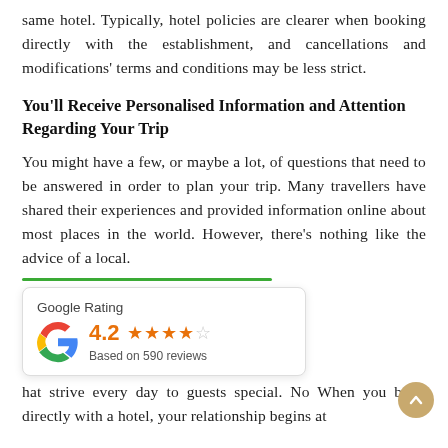same hotel. Typically, hotel policies are clearer when booking directly with the establishment, and cancellations and modifications' terms and conditions may be less strict.
You'll Receive Personalised Information and Attention Regarding Your Trip
You might have a few, or maybe a lot, of questions that need to be answered in order to plan your trip. Many travellers have shared their experiences and provided information online about most places in the world. However, there's nothing like the advice of a local.
[Figure (infographic): Google Rating widget with green top bar, Google G logo, rating 4.2, four orange stars and one empty star, and text 'Based on 590 reviews']
hat strive every day to guests special. No When you book directly with a hotel, your relationship begins at